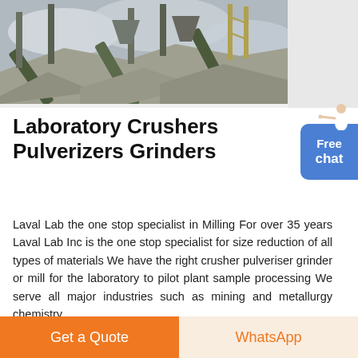[Figure (photo): Industrial crushing/milling plant with conveyor belts, large machinery, and aggregate piles under cloudy sky]
Laboratory Crushers Pulverizers Grinders
Laval Lab the one stop specialist in Milling For over 35 years Laval Lab Inc is the one stop specialist for size reduction of all types of materials We have the right crusher pulveriser grinder or mill for the laboratory to pilot plant sample processing We serve all major industries such as mining and metallurgy chemistry